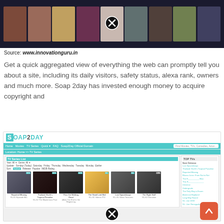[Figure (screenshot): Screenshot of a movie/TV browsing website showing movie thumbnails in a dark background strip with a close (X) button overlay]
Source: www.innovationguru.in
Get a quick aggregated view of everything the web can promptly tell you about a site, including its daily visitors, safety status, alexa rank, owners and much more. Soap 2day has invested enough money to acquire copyright and
[Figure (screenshot): Screenshot of Soap2Day website showing its TV Series listing page with thumbnails of shows including Thailand: Earth's Tropical Paradise, Fear the Walking Dead, The Good Lord Bird, Last Spacedays, The Right Stuff, and others. Has a TOP TVs sidebar listing New Releases.]